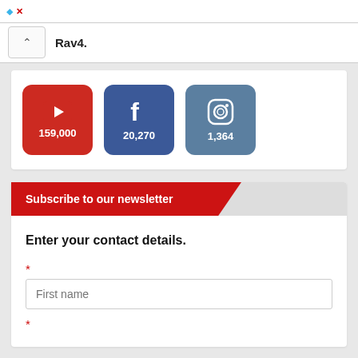Rav4.
[Figure (infographic): Three social media buttons: YouTube (159,000), Facebook (20,270), Instagram (1,364)]
Subscribe to our newsletter
Enter your contact details.
* First name